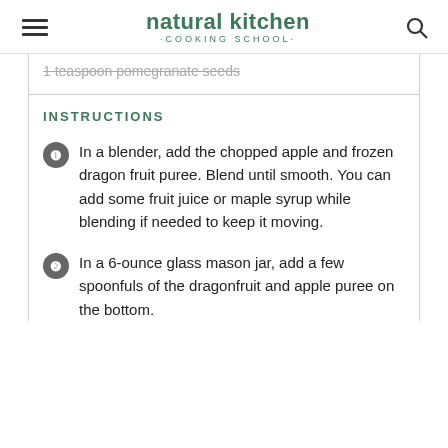natural kitchen · COOKING SCHOOL ·
1 teaspoon pomegranate seeds
INSTRUCTIONS
In a blender, add the chopped apple and frozen dragon fruit puree. Blend until smooth. You can add some fruit juice or maple syrup while blending if needed to keep it moving.
In a 6-ounce glass mason jar, add a few spoonfuls of the dragonfruit and apple puree on the bottom.